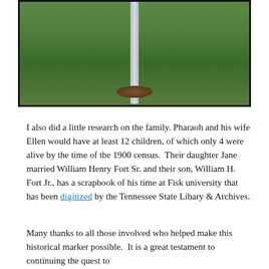[Figure (photo): Photograph of a metal pole or post standing in green grass with a mound of dirt at its base.]
I also did a little research on the family. Pharaoh and his wife Ellen would have at least 12 children, of which only 4 were alive by the time of the 1900 census.  Their daughter Jane married William Henry Fort Sr. and their son, William H. Fort Jr., has a scrapbook of his time at Fisk university that has been digitized by the Tennessee State Libary & Archives.
Many thanks to all those involved who helped make this historical marker possible.  It is a great testament to continuing the quest to